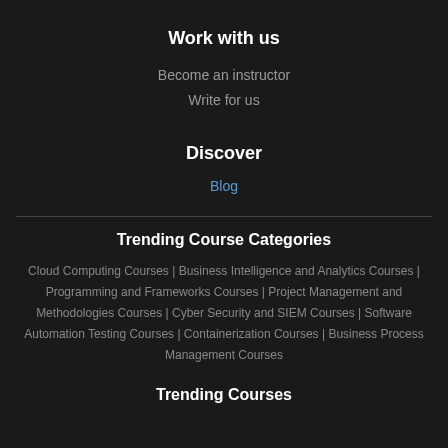Work with us
Become an instructor
Write for us
Discover
Blog
Trending Course Categories
Cloud Computing Courses | Business Intelligence and Analytics Courses | Programming and Frameworks Courses | Project Management and Methodologies Courses | Cyber Security and SIEM Courses | Software Automation Testing Courses | Containerization Courses | Business Process Management Courses
Trending Courses